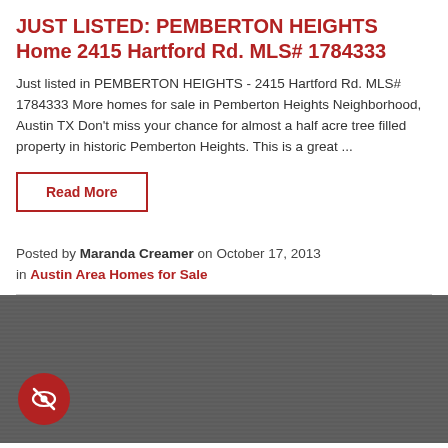JUST LISTED: PEMBERTON HEIGHTS Home 2415 Hartford Rd. MLS# 1784333
Just listed in PEMBERTON HEIGHTS - 2415 Hartford Rd. MLS# 1784333 More homes for sale in Pemberton Heights Neighborhood, Austin TX Don't miss your chance for almost a half acre tree filled property in historic Pemberton Heights. This is a great ...
Read More
Posted by Maranda Creamer on October 17, 2013 in Austin Area Homes for Sale
[Figure (photo): Dark gray textured background image with a circular red icon containing a crossed-out eye symbol in the bottom left corner.]